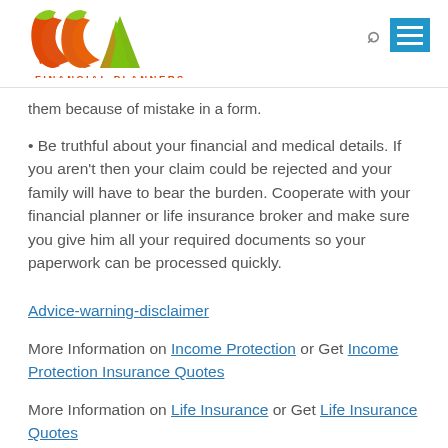CCA Financial Planners logo and navigation
them because of mistake in a form.
• Be truthful about your financial and medical details. If you aren't then your claim could be rejected and your family will have to bear the burden. Cooperate with your financial planner or life insurance broker and make sure you give him all your required documents so your paperwork can be processed quickly.
Advice-warning-disclaimer
More Information on Income Protection or Get Income Protection Insurance Quotes
More Information on Life Insurance or Get Life Insurance Quotes